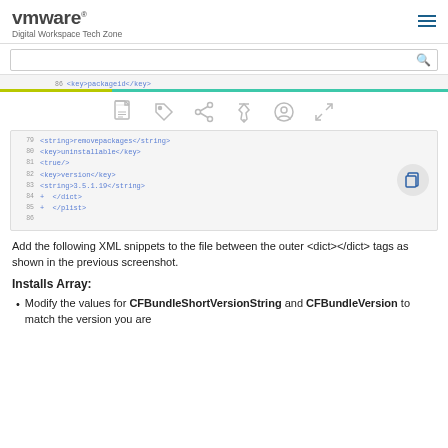vmware Digital Workspace Tech Zone
[Figure (screenshot): Code editor showing XML plist content with lines including <key>packageid</key> highlighted]
[Figure (screenshot): Toolbar with PDF, tag, share, pin, user, and expand icons]
[Figure (screenshot): Code editor showing XML lines: <string>removepackages</string>, <key>uninstallable</key>, <true/>, <key>version</key>, <string>3.5.1.19</string>, </dict>, </plist>]
Add the following XML snippets to the file between the outer <dict></dict> tags as shown in the previous screenshot.
Installs Array:
Modify the values for CFBundleShortVersionString and CFBundleVersion to match the version you are